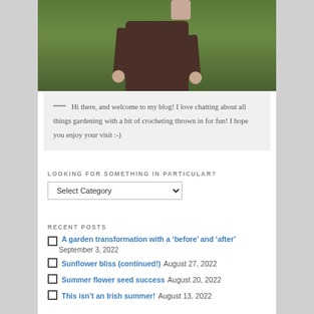[Figure (photo): Partial photo of a person standing on grass, showing their torso and hands. They are wearing dark brown trousers and a pinkish-beige top/cardigan. Green grass with small white flowers is visible in the background.]
— Hi there, and welcome to my blog! I love chatting about all things gardening with a bit of crocheting thrown in for fun! I hope you enjoy your visit :-)
LOOKING FOR SOMETHING IN PARTICULAR?
Select Category
RECENT POSTS
A garden transformation with a 'before' and 'after'  September 3, 2022
Sunflower bliss (continued!)  August 27, 2022
Summer flower seed success  August 20, 2022
This isn't an Irish summer!  August 13, 2022